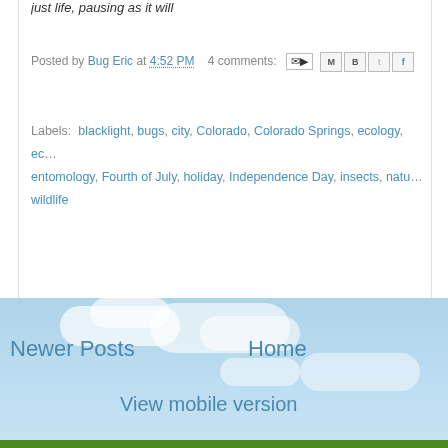just life, pausing as it will
Posted by Bug Eric at 4:52 PM   4 comments:
Labels: blacklight, bugs, city, Colorado, Colorado Springs, ecology, entomology, Fourth of July, holiday, Independence Day, insects, nature, wildlife
Newer Posts
Home
View mobile version
Subscribe to: Posts (Atom)
GOOGLE ANALYTICS
Picture Window theme. Theme images b